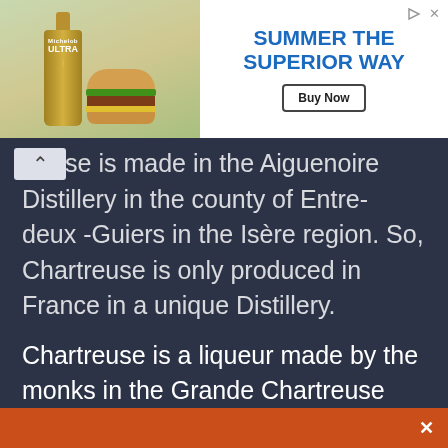[Figure (screenshot): Advertisement banner showing Michelob Ultra beer bottle and burger on left, blue text 'SUMMER THE SUPERIOR WAY' with Buy Now button on white background on right. Small play and close icons in top right corner.]
treuse is made in the Aiguenoire Distillery in the county of Entre- deux -Guiers in the Isère region. So, Chartreuse is only produced in France in a unique Distillery.
Chartreuse is a liqueur made by the monks in the Grande Chartreuse Monastery, called the Chartreux fathers. Furthermore, sales of Chartreuse are the only source of income for these monks.
[Figure (other): Orange/burnt orange colored footer bar with a white X close button on the right side.]